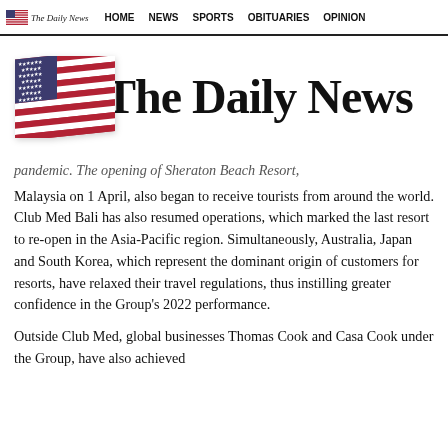The Daily News — HOME  NEWS  SPORTS  OBITUARIES  OPINION
[Figure (logo): The Daily News newspaper masthead with American flag and blackletter title text 'The Daily News']
pandemic. The opening of Sheraton Beach Resort, Malaysia on 1 April, also began to receive tourists from around the world. Club Med Bali has also resumed operations, which marked the last resort to re-open in the Asia-Pacific region. Simultaneously, Australia, Japan and South Korea, which represent the dominant origin of customers for resorts, have relaxed their travel regulations, thus instilling greater confidence in the Group's 2022 performance.
Outside Club Med, global businesses Thomas Cook and Casa Cook under the Group, have also achieved